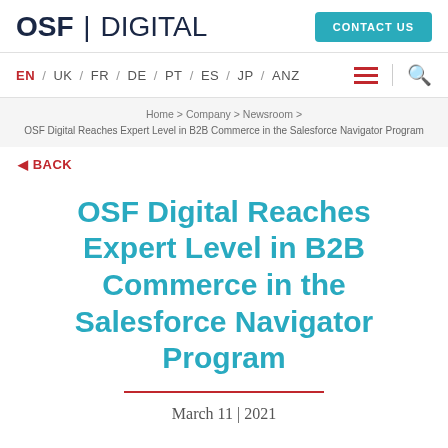OSF DIGITAL | CONTACT US
EN / UK / FR / DE / PT / ES / JP / ANZ
Home > Company > Newsroom > OSF Digital Reaches Expert Level in B2B Commerce in the Salesforce Navigator Program
◄ BACK
OSF Digital Reaches Expert Level in B2B Commerce in the Salesforce Navigator Program
March 11 | 2021